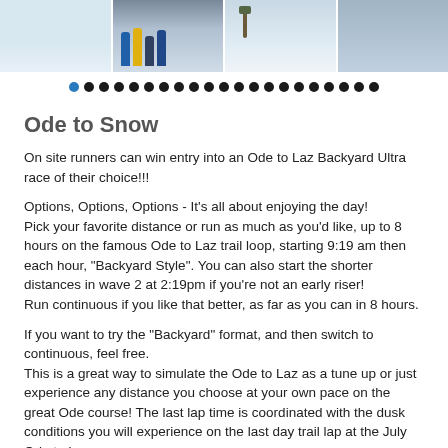[Figure (photo): Four snowy race/winter running photos in a horizontal strip at top of page]
Ode to Snow
On site runners can win entry into an Ode to Laz Backyard Ultra race of their choice!!!
Options, Options, Options - It's all about enjoying the day!
Pick your favorite distance or run as much as you'd like, up to 8 hours on the famous Ode to Laz trail loop, starting 9:19 am then each hour, "Backyard Style". You can also start the shorter distances in wave 2 at 2:19pm if you're not an early riser!
Run continuous if you like that better, as far as you can in 8 hours.
If you want to try the "Backyard" format, and then switch to continuous, feel free.
This is a great way to simulate the Ode to Laz as a tune up or just experience any distance you choose at your own pace on the great Ode course! The last lap time is coordinated with the dusk conditions you will experience on the last day trail lap at the July Ode to Laz race.